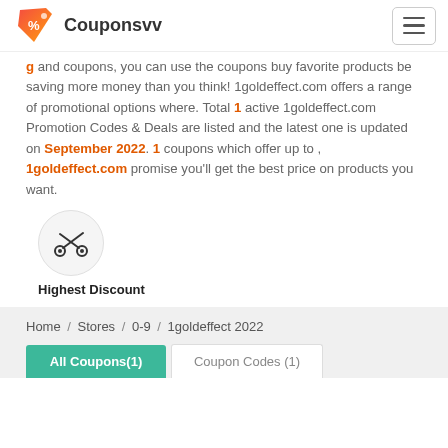Couponsvv
and coupons, you can use the coupons buy favorite products be saving more money than you think! 1goldeffect.com offers a range of promotional options where. Total 1 active 1goldeffect.com Promotion Codes & Deals are listed and the latest one is updated on September 2022. 1 coupons which offer up to , 1goldeffect.com promise you'll get the best price on products you want.
[Figure (illustration): Scissors icon inside a light gray circle, labeled Highest Discount below]
Highest Discount
Home / Stores / 0-9 / 1goldeffect 2022
All Coupons(1)
Coupon Codes (1)